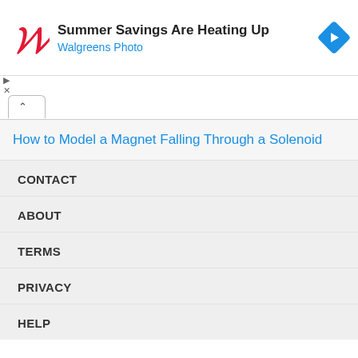[Figure (logo): Walgreens logo and advertisement banner: 'Summer Savings Are Heating Up' with Walgreens Photo subtitle and a blue navigation arrow icon]
How to Model a Magnet Falling Through a Solenoid
CONTACT
ABOUT
TERMS
PRIVACY
HELP